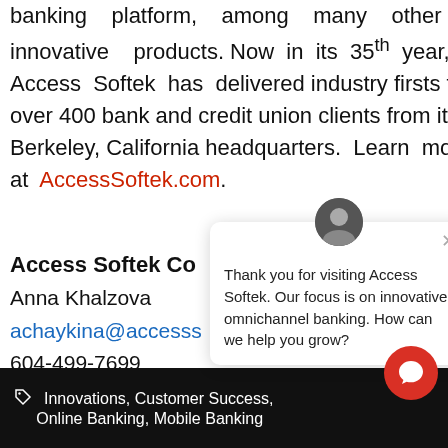banking platform, among many other innovative products. Now in its 35th year, Access Softek has delivered industry firsts to over 400 bank and credit union clients from its Berkeley, California headquarters. Learn more at AccessSoftek.com.
Access Softek Co
Anna Khalzova
achaykina@accesss…
604-499-7699
[Figure (screenshot): Chat widget overlay showing an avatar of a woman, a close (×) button, and the message: 'Thank you for visiting Access Softek. Our focus is on innovative omnichannel banking. How can we help you grow?' with a red circular chat button below.]
Innovations, Customer Success, Online Banking, Mobile Banking